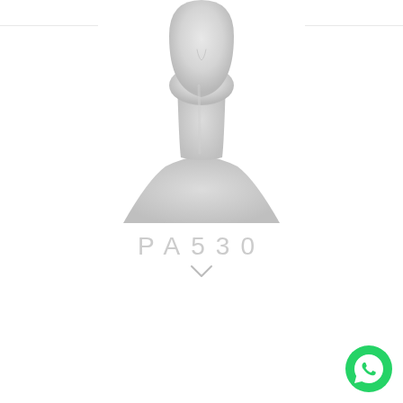MANNEQUINS EXPERTS
[Figure (photo): Partial view of a white mannequin bust showing neck and lower face/chin area, on white background]
PA530
[Figure (other): Downward chevron arrow icon]
[Figure (other): WhatsApp contact button - green circle with phone handset icon]